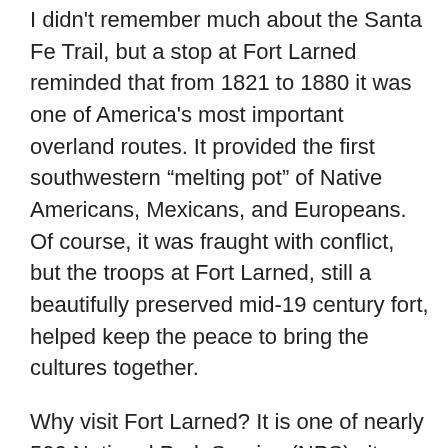I didn't remember much about the Santa Fe Trail, but a stop at Fort Larned reminded that from 1821 to 1880 it was one of America's most important overland routes. It provided the first southwestern “melting pot” of Native Americans, Mexicans, and Europeans. Of course, it was fraught with conflict, but the troops at Fort Larned, still a beautifully preserved mid-19 century fort, helped keep the peace to bring the cultures together.
Why visit Fort Larned? It is one of nearly 500 National Park Service (NPS) sites scattered across the country. The NPS does a great job of interpreting our history, and we learn so much with just a short visit. These sites also give us intermediate destinations as we traverse the country on our motorcycles. Furthermore, my riding buddy Richard reminds me frequently: “Every stop is a good stop.”